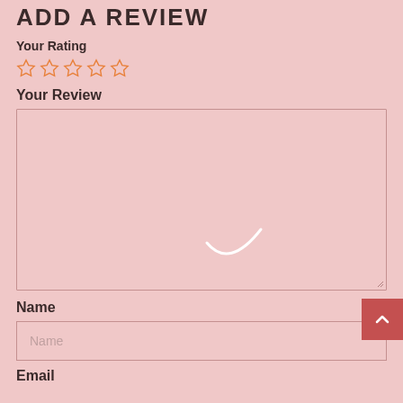ADD A REVIEW
Your Rating
[Figure (other): Five empty star rating icons in orange outline]
Your Review
[Figure (other): Large textarea input box with resize handle and a spinner/loading arc graphic in the center]
Name
Name (placeholder text in input field)
Email